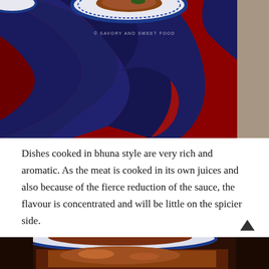[Figure (photo): Food photo showing a blue and white decorative plate with cooked dish, placed on red and navy blue draped fabric, with copyright watermark '© SAVORY AND SWEET FOOD']
Dishes cooked in bhuna style are very rich and aromatic. As the meat is cooked in its own juices and also because of the fierce reduction of the sauce, the flavour is concentrated and will be little on the spicier side.
[Figure (photo): Partial food photo at bottom showing a dish served on a blue and white plate, similar style to the top image]